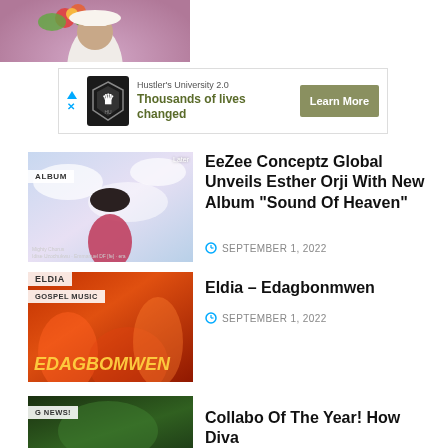[Figure (photo): Cropped top portion of a woman wearing a white outfit and floral hat, lavender/pink background]
[Figure (infographic): Advertisement banner: Hustler's University 2.0 logo, text 'Thousands of lives changed', Learn More button]
[Figure (photo): Album cover thumbnail with ALBUM tag, woman figure against cloudy sky background]
EeZee Conceptz Global Unveils Esther Orji With New Album “Sound Of Heaven”
SEPTEMBER 1, 2022
[Figure (photo): Gospel music cover with ELDIA tag and GOSPEL MUSIC label, orange/red fire background with EDAGBOMWEN text]
Eldia – Edagbonmwen
SEPTEMBER 1, 2022
[Figure (photo): G NEWS! tagged thumbnail with green background]
Collabo Of The Year! How Diva